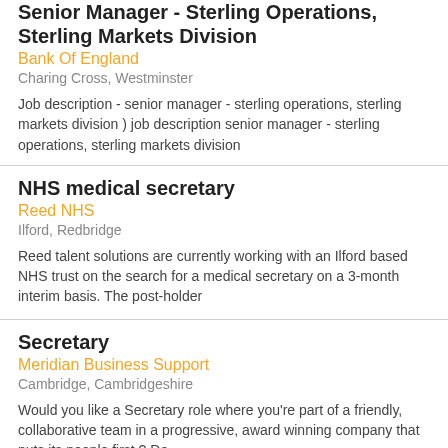Senior Manager - Sterling Operations, Sterling Markets Division
Bank Of England
Charing Cross, Westminster
Job description - senior manager - sterling operations, sterling markets division ) job description senior manager - sterling operations, sterling markets division
NHS medical secretary
Reed NHS
Ilford, Redbridge
Reed talent solutions are currently working with an Ilford based NHS trust on the search for a medical secretary on a 3-month interim basis. The post-holder
Secretary
Meridian Business Support
Cambridge, Cambridgeshire
Would you like a Secretary role where you're part of a friendly, collaborative team in a progressive, award winning company that puts its people first ? Do
Pensions manager - UK / Europe
Baker Hughes
Liverpool, Merseyside